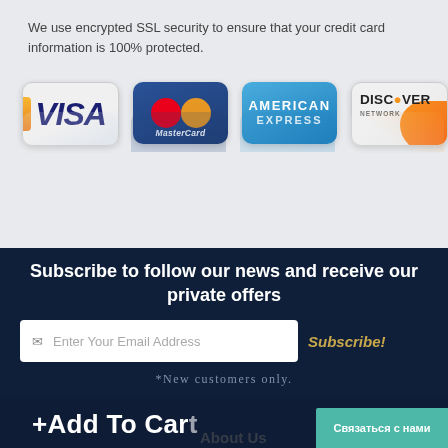We use encrypted SSL security to ensure that your credit card information is 100% protected.
[Figure (logo): Four payment card logos: Visa, MasterCard, American Express, Discover Network, shown with reflections below]
Subscribe to follow our news and receive our private offers
Enter Your Email Address
Subscribe!
*New customers only.
+Add To Cart
About Us
Связаться с нами